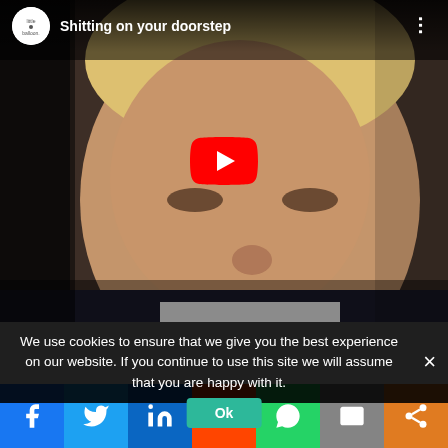[Figure (screenshot): YouTube video thumbnail showing a young man with blonde hair close to camera, with video title 'Shitting on your doorstep' and a YouTube play button overlay. The channel logo shows 'little balloon.' in top left.]
We use cookies to ensure that we give you the best experience on our website. If you continue to use this site we will assume that you are happy with it.
[Figure (infographic): Social media share bar with icons for Facebook, Twitter, LinkedIn, Reddit, WhatsApp, Email, and generic share button]